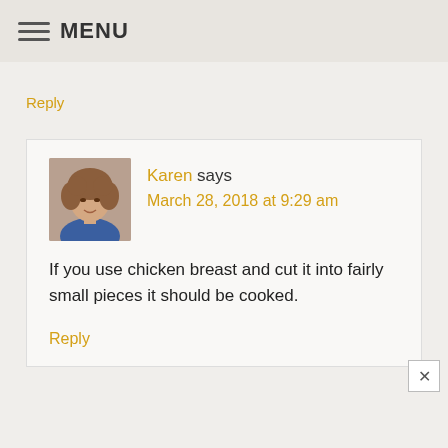MENU
Reply
[Figure (photo): Profile photo of Karen, a woman with curly hair wearing a patterned top]
Karen says
March 28, 2018 at 9:29 am
If you use chicken breast and cut it into fairly small pieces it should be cooked.
Reply